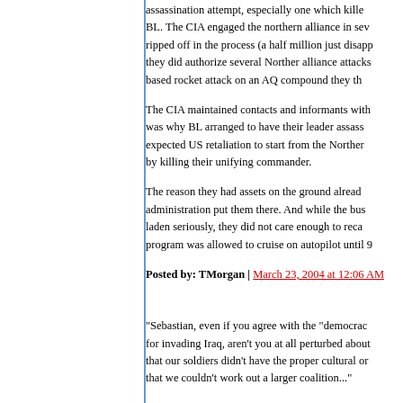assassination attempt, especially one which killed BL. The CIA engaged the northern alliance in several ways, getting ripped off in the process (a half million just disappeared), but they did authorize several Norther alliance attacks, including a based rocket attack on an AQ compound they thought...
The CIA maintained contacts and informants with... was why BL arranged to have their leader assassinated. BL expected US retaliation to start from the Northern alliance by killing their unifying commander.
The reason they had assets on the ground already is the Clinton administration put them there. And while the bush admin took bin laden seriously, they did not care enough to recall them, the program was allowed to cruise on autopilot until 9...
Posted by: TMorgan | March 23, 2004 at 12:06 AM
"Sebastian, even if you agree with the "democracy" rationale for invading Iraq, aren't you at all perturbed about the fact that our soldiers didn't have the proper cultural or... and that we couldn't work out a larger coalition..."
A lack of time had nothing to with the coalition. It w... with the problem that hampered our ability to form...